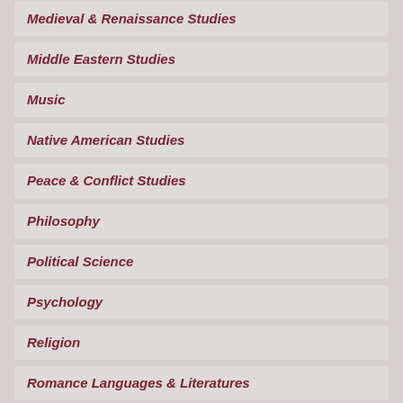Medieval & Renaissance Studies
Middle Eastern Studies
Music
Native American Studies
Peace & Conflict Studies
Philosophy
Political Science
Psychology
Religion
Romance Languages & Literatures
Russian Studies
Sociology
Theater
Women's Studies